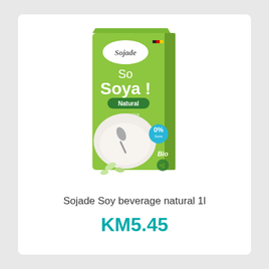[Figure (photo): Sojade So Soya Natural 1L green carton product photo showing the box with 'So Soya! Natural' text, a bowl of soy milk with a spoon, Bio organic certification logo, and 0% sugar badge]
Sojade Soy beverage natural 1l
KM5.45